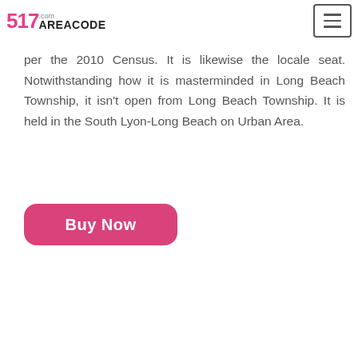517AREACODE.COM
per the 2010 Census. It is likewise the locale seat. Notwithstanding how it is masterminded in Long Beach Township, it isn't open from Long Beach Township. It is held in the South Lyon-Long Beach on Urban Area.
Buy Now